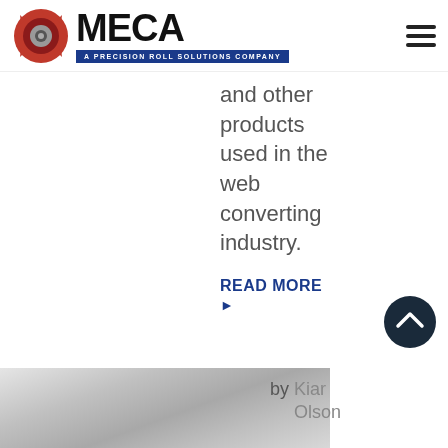[Figure (logo): MECA logo with gear icon and tagline 'A Precision Roll Solutions Company' on blue background bar]
and other products used in the web converting industry.
READ MORE ▶
[Figure (other): Dark circular scroll-to-top button with upward chevron arrow]
[Figure (photo): Partial photo of a metallic roll/cylinder product]
by Kiar Olson